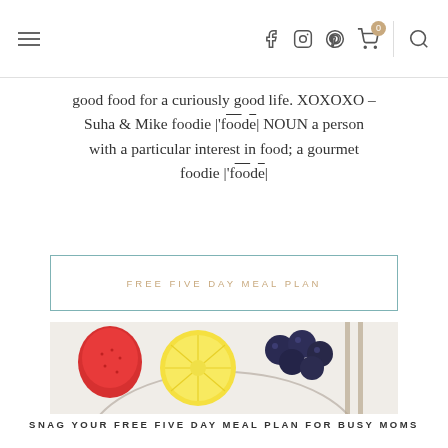[navigation bar with hamburger menu, social icons (f, instagram, pinterest), cart (0), search]
good food for a curiously good life. XOXOXO – Suha & Mike foodie |'fo̅o̅de̅| NOUN a person with a particular interest in food; a gourmet foodie |'fo̅o̅de̅|
FREE FIVE DAY MEAL PLAN
[Figure (photo): Close-up photo of fruits: strawberry, lemon slice, blueberries, with cutlery in background on white surface]
SNAG YOUR FREE FIVE DAY MEAL PLAN FOR BUSY MOMS
JOIN OUR FREE COMMUNITY